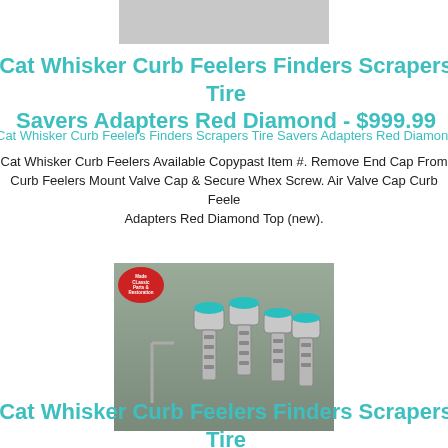[Figure (photo): Partial product image cut off at top of page, gray background]
Cat Whisker Curb Feelers Finders Scrapers Tire Savers Adapters Red Diamond - $999.99
Cat Whisker Curb Feelers Finders Scrapers Tire Savers Adapters Red Diamond
Cat Whisker Curb Feelers Available Copypast Item #. Remove End Cap From Curb Feelers Mount Valve Cap & Secure Whex Screw. Air Valve Cap Curb Feelers Adapters Red Diamond Top (new).
[Figure (photo): Product photo showing chrome/silver curb feeler adapters with green diamond tops and an allen wrench, on gray background, with red circular logo badge top left reading 'Made Classic Parts & Restoration']
Cat Whisker Curb Feelers Finders Scrapers Tire Savers Adapters Green Diamond - $999.99